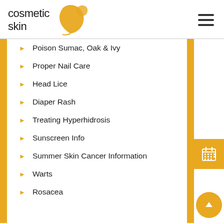[Figure (logo): Cosmetic Skin logo with golden leaf graphic and text 'cosmetic skin']
Poison Sumac, Oak & Ivy
Proper Nail Care
Head Lice
Diaper Rash
Treating Hyperhidrosis
Sunscreen Info
Summer Skin Cancer Information
Warts
Rosacea